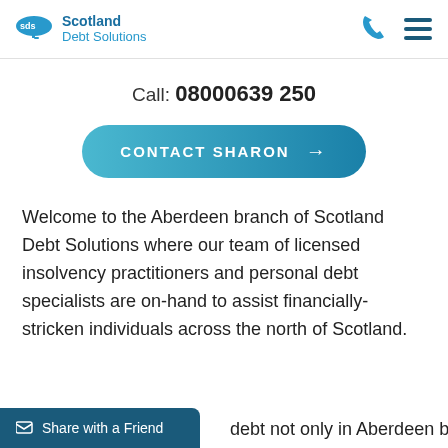Scotland Debt Solutions
Call: 0800 0639 250
[Figure (other): CONTACT SHARON button with arrow]
Welcome to the Aberdeen branch of Scotland Debt Solutions where our team of licensed insolvency practitioners and personal debt specialists are on-hand to assist financially-stricken individuals across the north of Scotland.
debt not only in Aberdeen but
Share with a Friend